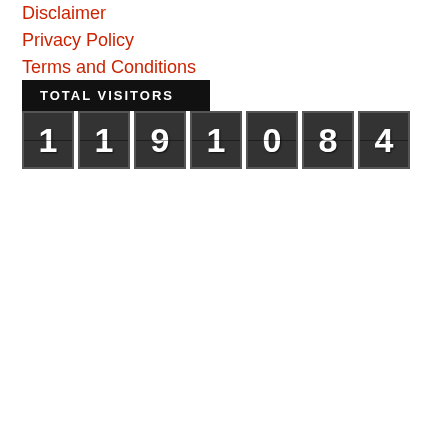Disclaimer
Privacy Policy
Terms and Conditions
[Figure (other): Total Visitors counter widget showing number 1191084 on a dark segmented display with black header bar labeled TOTAL VISITORS]